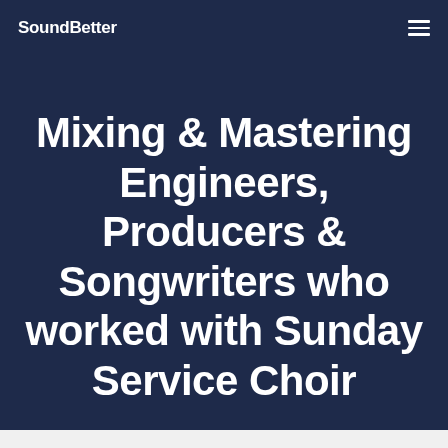SoundBetter
Mixing & Mastering Engineers, Producers & Songwriters who worked with Sunday Service Choir